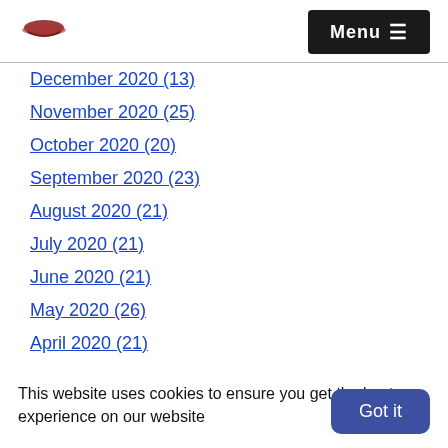[logo] Menu ☰
December 2020 (13)
November 2020 (25)
October 2020 (20)
September 2020 (23)
August 2020 (21)
July 2020 (21)
June 2020 (21)
May 2020 (26)
April 2020 (21)
March 2020 (22)
February 2020 (20)
January 2020 (21)
December 2019 (20)
This website uses cookies to ensure you get the best experience on our website